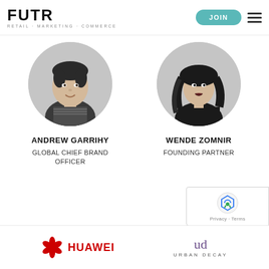FUTR | RETAIL · MARKETING · COMMERCE | JOIN
[Figure (photo): Black and white circular headshot of Andrew Garrihy, a man smiling]
ANDREW GARRIHY
GLOBAL CHIEF BRAND OFFICER
[Figure (photo): Black and white circular headshot of Wende Zomnir, a woman with long hair]
WENDE ZOMNIR
FOUNDING PARTNER
[Figure (logo): Huawei logo with red flower icon and HUAWEI text]
[Figure (logo): Urban Decay logo with ud monogram and URBAN DECAY text]
[Figure (other): reCAPTCHA badge with Privacy and Terms links]